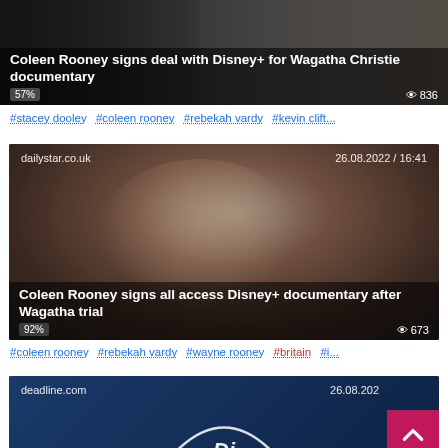[Figure (screenshot): News article card: 'Coleen Rooney signs deal with Disney+ for Wagatha Christie documentary', 57% label, 836 views]
#stacey dooley  #coleen rooney  #rebekah vardy  #kevin clift...
[Figure (screenshot): News article card from dailystar.co.uk dated 26.08.2022 / 16:41, photo of Coleen Rooney, title: 'Coleen Rooney signs all access Disney+ documentary after Wagatha trial', 92% label, 673 views]
#coleen rooney  #rebekah vardy  #wayne rooney  #britain  #i...
[Figure (screenshot): News article card from deadline.com dated 26.08.202..., showing Disney+ logo arc on dark blue background, with pink scroll-to-top button overlay]